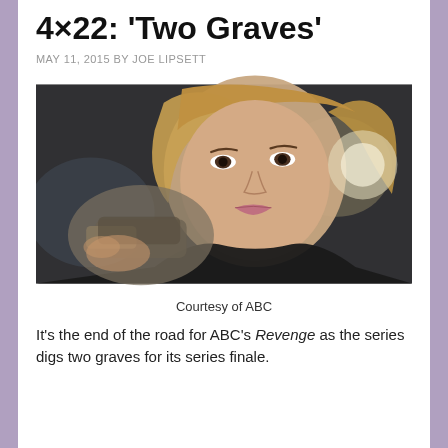4×22: 'Two Graves'
MAY 11, 2015 BY JOE LIPSETT
[Figure (photo): A blonde woman holding a gun pointed toward the camera, looking confidently at the viewer. Dark bokeh background with a circular light source.]
Courtesy of ABC
It's the end of the road for ABC's Revenge as the series digs two graves for its series finale.